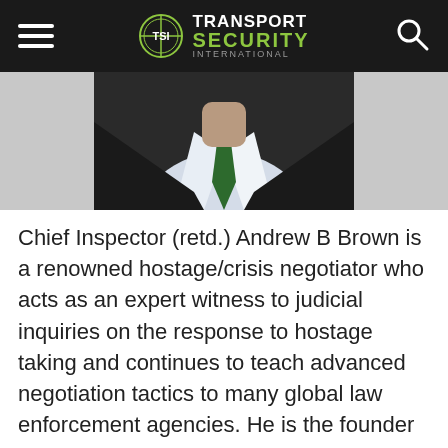TRANSPORT SECURITY INTERNATIONAL
[Figure (photo): Partial portrait photo of a man in a dark suit with a green tie, cropped to show neck and upper chest area only]
Chief Inspector (retd.) Andrew B Brown is a renowned hostage/crisis negotiator who acts as an expert witness to judicial inquiries on the response to hostage taking and continues to teach advanced negotiation tactics to many global law enforcement agencies. He is the founder and director of www.the-right-path.com . As a Fellow of the Chartered Management and Security Institutes, he has delivered negotiation and crisis leadership skills for major corporations, public bodies. He is also director of the